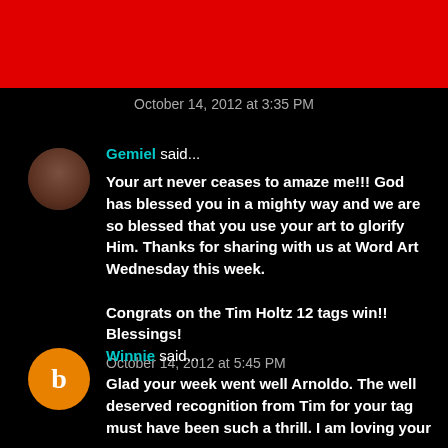[Figure (other): Red banner bar at top of page]
October 14, 2012 at 3:35 PM
Gemiel said...

Your art never ceases to amaze me!!! God has blessed you in a mighty way and we are so blessed that you use your art to glorify Him. Thanks for sharing with us at Word Art Wednesday this week.

Congrats on the Tim Holtz 12 tags win!! Blessings!
October 14, 2012 at 5:45 PM
Winnie said...

Glad your week went well Arnoldo. The well deserved recognition from Tim for your tag must have been such a thrill. I am loving your...